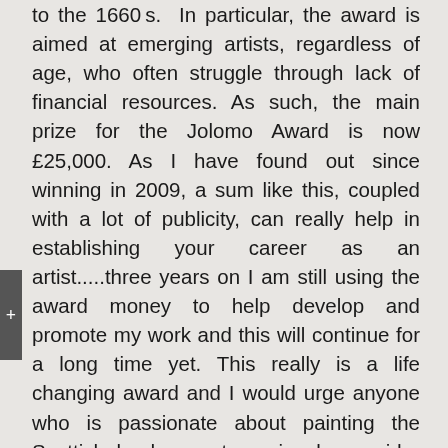to the 1660 s. In particular, the award is aimed at emerging artists, regardless of age, who often struggle through lack of financial resources. As such, the main prize for the Jolomo Award is now £25,000. As I have found out since winning in 2009, a sum like this, coupled with a lot of publicity, can really help in establishing your career as an artist.....three years on I am still using the award money to help develop and promote my work and this will continue for a long time yet. This really is a life changing award and I would urge anyone who is passionate about painting the Scottish landscape to seriously consider applying for the 2013 award. Full details and application forms can be obtained from: The Jolomo Foundation Millburn Old Philpstoun Linlithgow West Lothian EH49 7PY OR downloaded from: www.jolomofoundation.org Closing date for applications is 14th January 2013. Entry fee: £25. Best